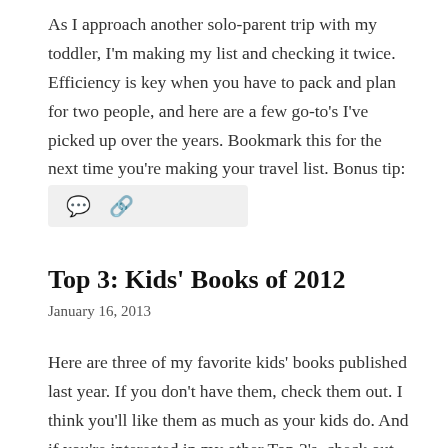As I approach another solo-parent trip with my toddler, I'm making my list and checking it twice. Efficiency is key when you have to pack and plan for two people, and here are a few go-to's I've picked up over the years. Bookmark this for the next time you're making your travel list. Bonus tip: Save your … More
[Figure (other): Action bar with comment and share icons on light grey background]
Top 3: Kids' Books of 2012
January 16, 2013
Here are three of my favorite kids' books published last year. If you don't have them, check them out. I think you'll like them as much as your kids do. And if you're interested in my other Top 3's, check out my recommended blogs for moms and apps for traveling toddlers. Have your own Top 3 … More